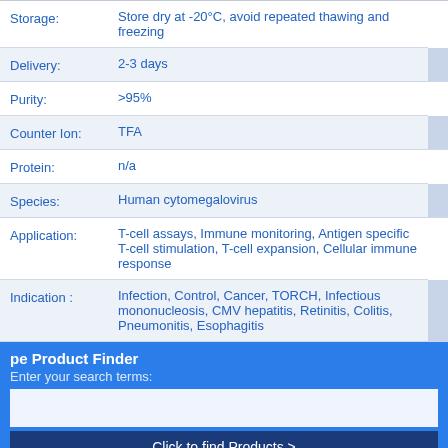| Field | Value |
| --- | --- |
| Storage: | Store dry at -20°C, avoid repeated thawing and freezing |
| Delivery: | 2-3 days |
| Purity: | >95% |
| Counter Ion: | TFA |
| Protein: | n/a |
| Species: | Human cytomegalovirus |
| Application: | T-cell assays, Immune monitoring, Antigen specific T-cell stimulation, T-cell expansion, Cellular immune response |
| Indication: | Infection, Control, Cancer, TORCH, Infectious mononucleosis, CMV hepatitis, Retinitis, Colitis, Pneumonitis, Esophagitis |
pe Product Finder
Enter your search terms:
Click to find Products >
Protocols and Tips